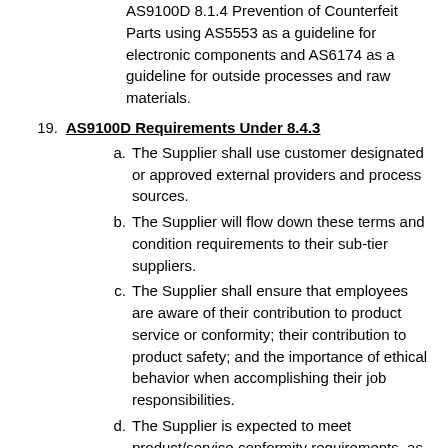AS9100D 8.1.4 Prevention of Counterfeit Parts using AS5553 as a guideline for electronic components and AS6174 as a guideline for outside processes and raw materials.
19. AS9100D Requirements Under 8.4.3
a. The Supplier shall use customer designated or approved external providers and process sources.
b. The Supplier will flow down these terms and condition requirements to their sub-tier suppliers.
c. The Supplier shall ensure that employees are aware of their contribution to product service or conformity; their contribution to product safety; and the importance of ethical behavior when accomplishing their job responsibilities.
d. The Supplier is expected to meet product/service conformity requirements, as flowed down on